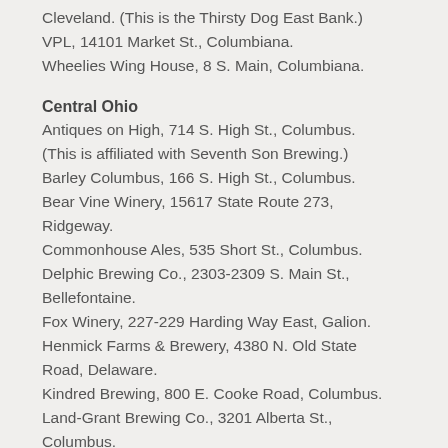Cleveland. (This is the Thirsty Dog East Bank.)
VPL, 14101 Market St., Columbiana.
Wheelies Wing House, 8 S. Main, Columbiana.
Central Ohio
Antiques on High, 714 S. High St., Columbus. (This is affiliated with Seventh Son Brewing.)
Barley Columbus, 166 S. High St., Columbus.
Bear Vine Winery, 15617 State Route 273, Ridgeway.
Commonhouse Ales, 535 Short St., Columbus.
Delphic Brewing Co., 2303-2309 S. Main St., Bellefontaine.
Fox Winery, 227-229 Harding Way East, Galion.
Henmick Farms & Brewery, 4380 N. Old State Road, Delaware.
Kindred Brewing, 800 E. Cooke Road, Columbus.
Land-Grant Brewing Co., 3201 Alberta St., Columbus.
LLI Brewery LTD, 467 N. High St., Columbus. (It's